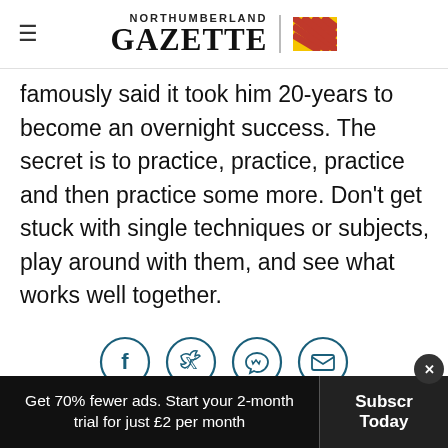Northumberland Gazette [logo with flag]
famously said it took him 20-years to become an overnight success. The secret is to practice, practice, practice and then practice some more. Don't get stuck with single techniques or subjects, play around with them, and see what works well together.
[Figure (other): Social sharing icons row: Facebook, Twitter, WhatsApp, Email — each in a teal circle outline]
Get 70% fewer ads. Start your 2-month trial for just £2 per month | Subscribe Today